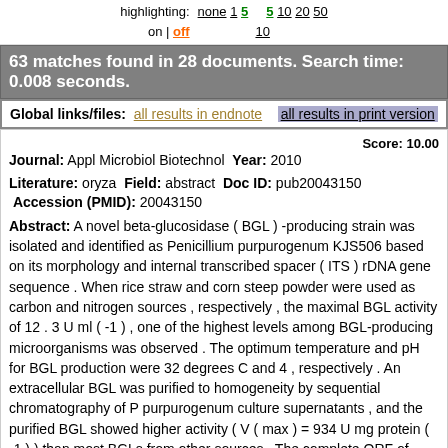highlighting: none 1 5   5 10 20 50 on | off 10
63 matches found in 28 documents. Search time: 0.008 seconds.
Global links/files: all results in endnote   all results in print version
Score: 10.00
Journal: Appl Microbiol Biotechnol Year: 2010
Literature: oryza Field: abstract Doc ID: pub20043150 Accession (PMID): 20043150
Abstract: A novel beta-glucosidase ( BGL ) -producing strain was isolated and identified as Penicillium purpurogenum KJS506 based on its morphology and internal transcribed spacer ( ITS ) rDNA gene sequence . When rice straw and corn steep powder were used as carbon and nitrogen sources , respectively , the maximal BGL activity of 12 . 3 U ml ( -1 ) , one of the highest levels among BGL-producing microorganisms was observed . The optimum temperature and pH for BGL production were 32 degrees C and 4 , respectively . An extracellular BGL was purified to homogeneity by sequential chromatography of P purpurogenum culture supernatants , and the purified BGL showed higher activity ( V ( max ) = 934 U mg protein ( -1 ) ) than most BGLs from other sources . The complete ORF of bgl3 was cloned from P purpurogenum by a modified thermal asymmetric interlaced polymerase chain reaction . The bgl3 gene consists of a 2 , 571-bp ORF and encodes a putative protein containing 856 amino acids with a calculated molecular mass of 89 , 624 Da . The putative gene product was identified as a member of glycoside hydrolase family 3 . The present